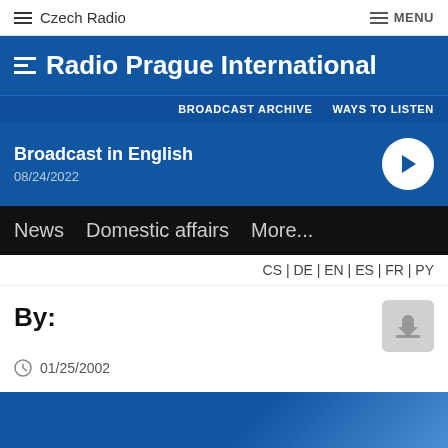Czech Radio | MENU
Radio Prague International
BROADCAST ARCHIVE | WAYS TO LISTEN
Broadcast in English
08/24/2022
News  Domestic affairs  More...
CS | DE | EN | ES | FR | PY
By:
01/25/2002